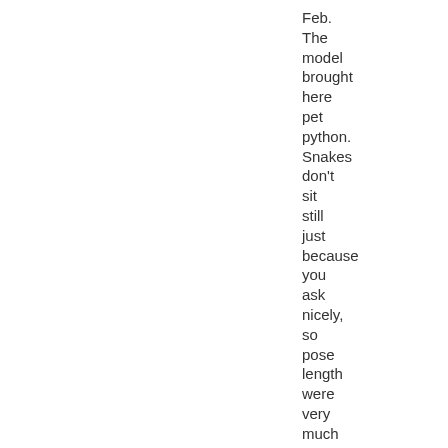Feb. The model brought here pet python. Snakes don't sit still just because you ask nicely, so pose length were very much up to the